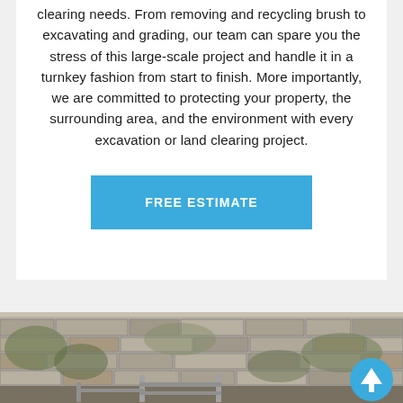clearing needs. From removing and recycling brush to excavating and grading, our team can spare you the stress of this large-scale project and handle it in a turnkey fashion from start to finish. More importantly, we are committed to protecting your property, the surrounding area, and the environment with every excavation or land clearing project.
FREE ESTIMATE
[Figure (photo): Outdoor photo of a stone wall with vegetation and a metal fence or bench in the foreground. A blue circular icon with an upward arrow is overlaid in the bottom right corner.]